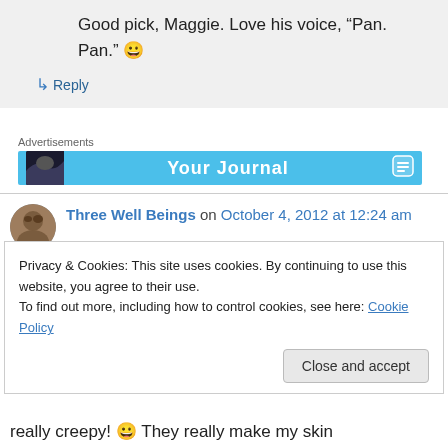Good pick, Maggie. Love his voice, “Pan. Pan.” 😀
↳ Reply
Advertisements
[Figure (screenshot): Blue advertisement banner with dark image on left and 'Your Journal' text in white]
Three Well Beings on October 4, 2012 at 12:24 am
Privacy & Cookies: This site uses cookies. By continuing to use this website, you agree to their use.
To find out more, including how to control cookies, see here: Cookie Policy
Close and accept
really creepy! 😀 They really make my skin